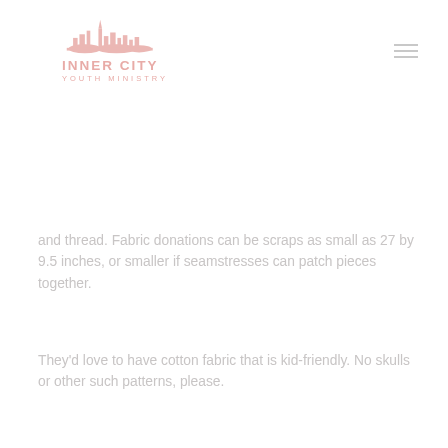[Figure (logo): Inner City Youth Ministry logo with cityscape silhouette above text reading INNER CITY YOUTH MINISTRY in pink/salmon color]
and thread. Fabric donations can be scraps as small as 27 by 9.5 inches, or smaller if seamstresses can patch pieces together.
They'd love to have cotton fabric that is kid-friendly. No skulls or other such patterns, please.
“I’m just learning to sew and it came together pretty easily for me,” said Erin of her first attempt. “We’re hoping it might be a great family project.”
The pattern is easy enough to be a first project for young seamstresses, she said, though a sewing machine is really more of a necessity.